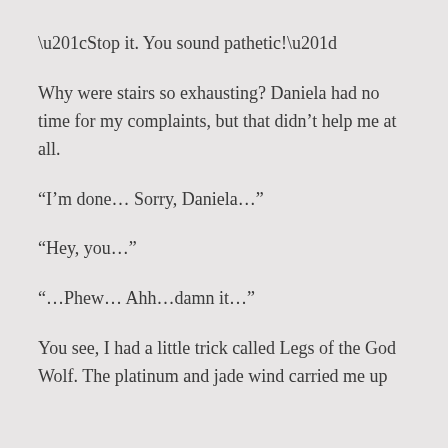“Stop it. You sound pathetic!”
Why were stairs so exhausting? Daniela had no time for my complaints, but that didn’t help me at all.
“I’m done… Sorry, Daniela…”
“Hey, you…”
“…Phew… Ahh…damn it…”
You see, I had a little trick called Legs of the God Wolf. The platinum and jade wind carried me up